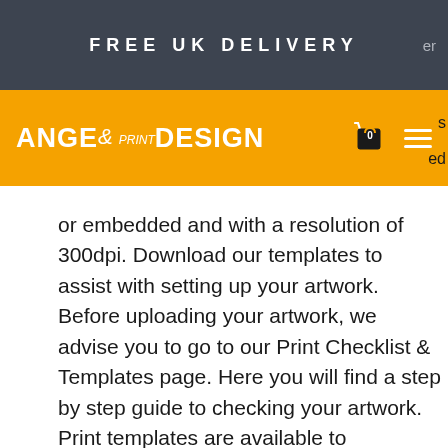FREE UK DELIVERY
[Figure (logo): Angel Print & Design logo on orange navigation bar with hamburger menu and cart icon]
or embedded and with a resolution of 300dpi. Download our templates to assist with setting up your artwork. Before uploading your artwork, we advise you to go to our Print Checklist & Templates page. Here you will find a step by step guide to checking your artwork. Print templates are available to download for you to use to ensure the correct size & Upload your artwork + add any information regarding your print. If you have